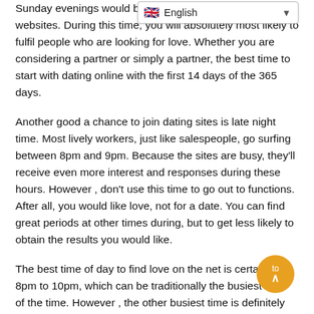Sunday evenings would be the busiest days on dating websites. During this time, you will absolutely most likely to fulfil people who are looking for love. Whether you are considering a partner or simply a partner, the best time to start with dating online with the first 14 days of the 365 days.
Another good a chance to join dating sites is late night time. Most lively workers, just like salespeople, go surfing between 8pm and 9pm. Because the sites are busy, they'll receive even more interest and responses during these hours. However , don't use this time to go out to functions. After all, you would like love, not for a date. You can find great periods at other times during, but to get less likely to obtain the results you would like.
The best time of day to find love on the net is certainly 8pm to 10pm, which can be traditionally the busiest hour of the time. However , the other busiest time is definitely early morning, once many people are checking their emails before each goes to foundation. That's because people are verifying their emails first thing every day, which is why the first Saturday of January is such